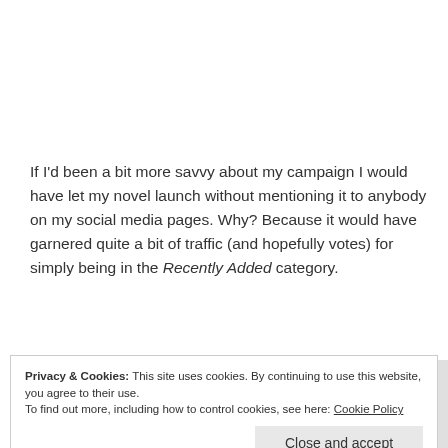If I'd been a bit more savvy about my campaign I would have let my novel launch without mentioning it to anybody on my social media pages. Why? Because it would have garnered quite a bit of traffic (and hopefully votes) for simply being in the Recently Added category.
Privacy & Cookies: This site uses cookies. By continuing to use this website, you agree to their use.
To find out more, including how to control cookies, see here: Cookie Policy
Close and accept
least. Then I should have staggered my social